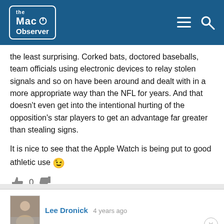the Mac Observer
the least surprising. Corked bats, doctored baseballs, team officials using electronic devices to relay stolen signals and so on have been around and dealt with in a more appropriate way than the NFL for years. And that doesn't even get into the intentional hurting of the opposition's star players to get an advantage far greater than stealing signs.

It is nice to see that the Apple Watch is being put to good athletic use 😉
👍 0 👎
Lee Dronick  4 years ago
Thanks for posting a detailed guide on this. This is really